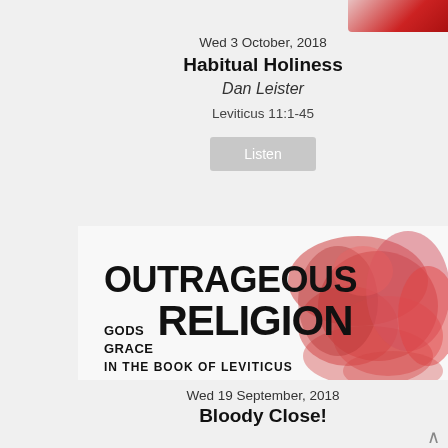[Figure (illustration): Partial red/crimson image strip visible at top right corner of a sermon card]
Wed 3 October, 2018
Habitual Holiness
Dan Leister
Leviticus 11:1-45
[Figure (illustration): Book/sermon series cover: OUTRAGEOUS GODS GRACE RELIGION IN THE BOOK OF LEVITICUS with red smoke/ink cloud on right side]
Wed 19 September, 2018
Bloody Close!